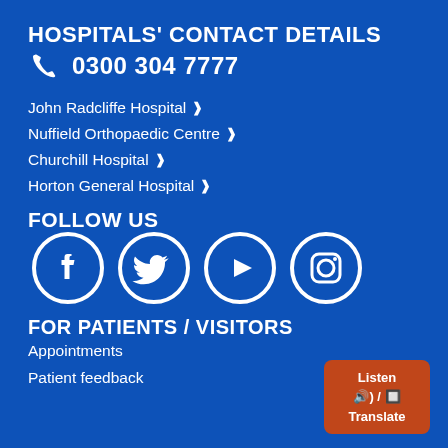HOSPITALS' CONTACT DETAILS
0300 304 7777
John Radcliffe Hospital
Nuffield Orthopaedic Centre
Churchill Hospital
Horton General Hospital
FOLLOW US
[Figure (infographic): Social media icons: Facebook, Twitter, YouTube, Instagram — white circle outlines on blue background]
FOR PATIENTS / VISITORS
Appointments
Patient feedback